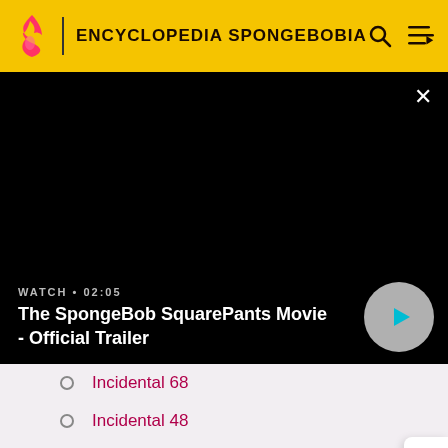ENCYCLOPEDIA SPONGEBOBIA
[Figure (screenshot): Black video player showing The SpongeBob SquarePants Movie - Official Trailer, duration 02:05, with a play button overlay]
WATCH • 02:05
The SpongeBob SquarePants Movie - Official Trailer
Incidental 68
Incidental 48
Incidental 69
Incidental 64
Incidental 49